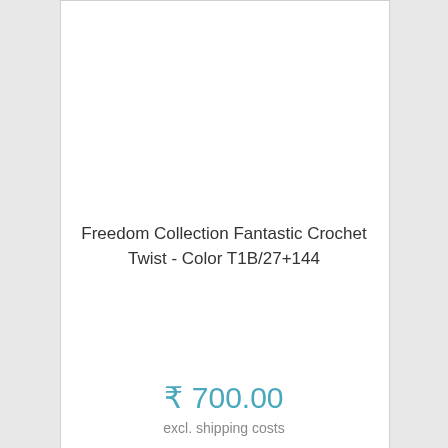Freedom Collection Fantastic Crochet Twist - Color T1B/27+144
₹ 700.00
excl. shipping costs
add to cart